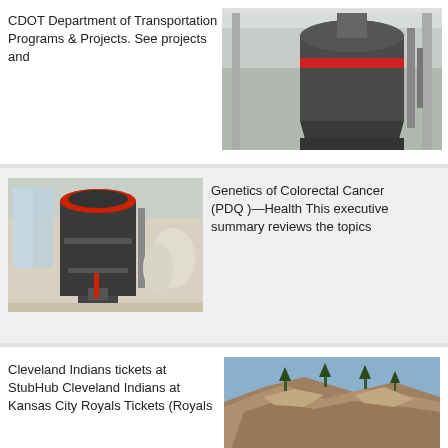CDOT Department of Transportation Programs & Projects. See projects and
[Figure (photo): Industrial milling machine with red ring detail in a factory setting]
[Figure (photo): Large industrial vertical mill machine inside a factory building]
Genetics of Colorectal Cancer (PDQ )—Health This executive summary reviews the topics
Cleveland Indians tickets at StubHub Cleveland Indians at Kansas City Royals Tickets (Royals
[Figure (photo): Aerial view of a rocky hillside with sparse trees]